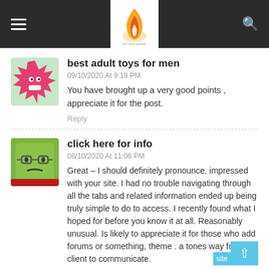EUGINE350 site header with hamburger menu, logo, and search icon
best adult toys for men
09/10/2020 At 9:19 PM
You have brought up a very good points , appreciate it for the post.
Reply
click here for info
08/10/2020 At 11:06 PM
Great – I should definitely pronounce, impressed with your site. I had no trouble navigating through all the tabs and related information ended up being truly simple to do to access. I recently found what I hoped for before you know it at all. Reasonably unusual. Is likely to appreciate it for those who add forums or something, theme . a tones way for your client to communicate.